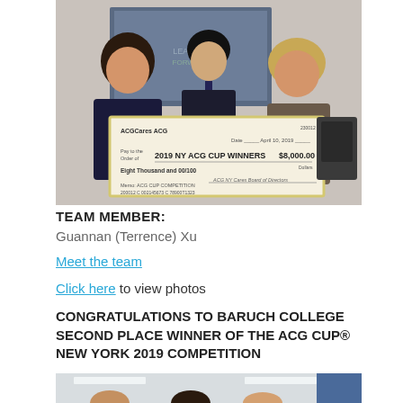[Figure (photo): Three people holding a large ceremonial check for $8,000 from ACG Cares/ACG dated April 10, 2019, made out to 2019 NY ACG CUP WINNERS. A projection screen is visible in the background.]
TEAM MEMBER:
Guannan (Terrence) Xu
Meet the team
Click here to view photos
CONGRATULATIONS TO BARUCH COLLEGE SECOND PLACE WINNER OF THE ACG CUP® NEW YORK 2019 COMPETITION
[Figure (photo): Group photo of team members at an event, partially cropped at the bottom of the page.]